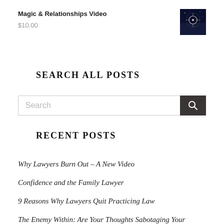Magic & Relationships Video
$10.00
[Figure (photo): Small thumbnail image with dark blue night sky and glowing circular light]
SEARCH ALL POSTS
Search
RECENT POSTS
Why Lawyers Burn Out – A New Video
Confidence and the Family Lawyer
9 Reasons Why Lawyers Quit Practicing Law
The Enemy Within: Are Your Thoughts Sabotaging Your Success?